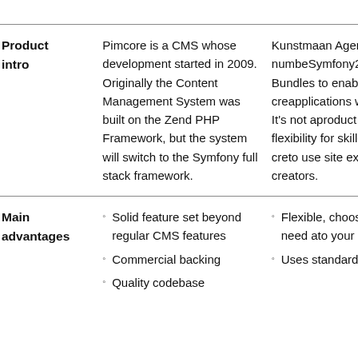|  | Pimcore | Kunstmaan Agency |
| --- | --- | --- |
| Product intro | Pimcore is a CMS whose development started in 2009. Originally the Content Management System was built on the Zend PHP Framework, but the system will switch to the Symfony full stack framework. | Kunstmaan Agency created a number of Symfony2 Framework Bundles to enable developers to create applications with features. It's not a product in itself, but flexibility for skilled developers to create easy to use site experiences for content creators. |
| Main advantages | Solid feature set beyond regular CMS features
Commercial backing
Quality codebase | Flexible, choose what you need and adapt to your needs
Uses standard |